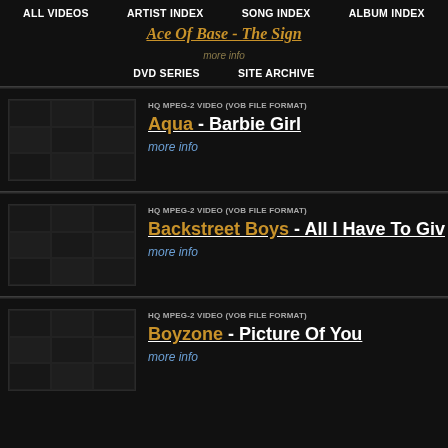ALL VIDEOS | ARTIST INDEX | SONG INDEX | ALBUM INDEX
Ace Of Base - The Sign
more info
DVD SERIES | SITE ARCHIVE
HQ MPEG-2 VIDEO (VOB FILE FORMAT)
Aqua - Barbie Girl
more info
HQ MPEG-2 VIDEO (VOB FILE FORMAT)
Backstreet Boys - All I Have To Give
more info
HQ MPEG-2 VIDEO (VOB FILE FORMAT)
Boyzone - Picture Of You
more info